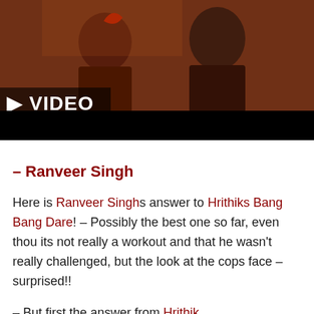[Figure (photo): Video thumbnail showing two people in costume with a VIDEO label overlay on a dark background]
– Ranveer Singh
Here is Ranveer Singhs answer to Hrithiks Bang Bang Dare! – Possibly the best one so far, even thou its not really a workout and that he wasn't really challenged, but the look at the cops face – surprised!!
But first the answer from Hrithik...